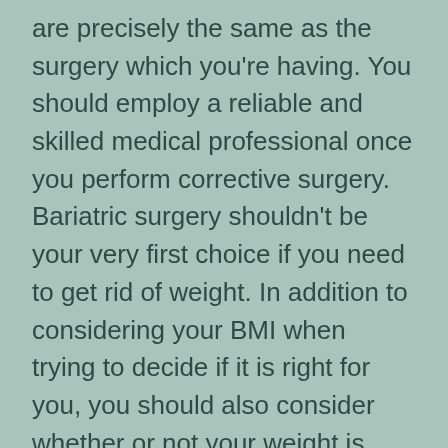are precisely the same as the surgery which you're having. You should employ a reliable and skilled medical professional once you perform corrective surgery. Bariatric surgery shouldn't be your very first choice if you need to get rid of weight. In addition to considering your BMI when trying to decide if it is right for you, you should also consider whether or not your weight is affecting your health. The absolute most popular surgery of the three is transplant surgery, as a result of quicker recovery time, and how the surgery is not as invasive and painful than alternatives. Non invasive surgery is often able to resolve in